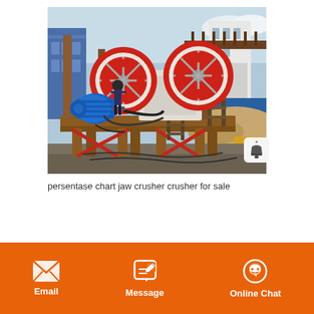[Figure (photo): Industrial jaw crusher machine on a mobile frame/platform at a construction or mining site. Two large red and white flywheels visible, with a blue electric motor on the left. The machine is mounted on a steel frame supported by wooden/metal legs. A worker is visible near the crusher. Background shows industrial buildings and a pile of gravel or aggregate. Red diagonal support beams visible at front.]
persentase chart jaw crusher crusher for sale
Email   Message   Online Chat